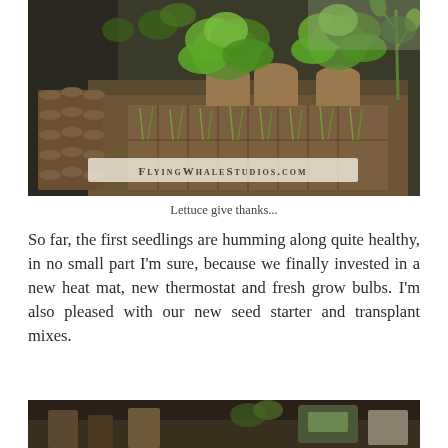[Figure (photo): Photograph of seedling trays with young green lettuce plants and small seedlings in peat pots on a table indoors. Watermark text reads: FLYINGWHALESTUDIOS.COM]
Lettuce give thanks...
So far, the first seedlings are humming along quite healthy, in no small part I'm sure, because we finally invested in a new heat mat, new thermostat and fresh grow bulbs. I'm also pleased with our new seed starter and transplant mixes.
[Figure (photo): Partial photograph at bottom of page showing gardening supplies and seedling materials on a table.]